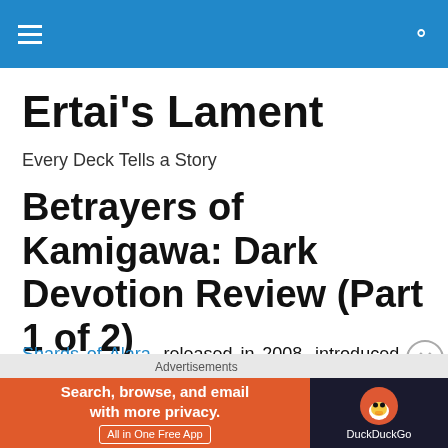Ertai's Lament — navigation header bar
Ertai's Lament
Every Deck Tells a Story
Betrayers of Kamigawa: Dark Devotion Review (Part 1 of 2)
Shards of Alara, released in 2008, introduced us to a world that had been riven into five self-contained dimensional fragments, each characterised both by the prevalence of
[Figure (screenshot): DuckDuckGo advertisement banner: orange left section reading 'Search, browse, and email with more privacy.' with 'All in One Free App' button, dark right section with DuckDuckGo duck logo and brand name]
Advertisements